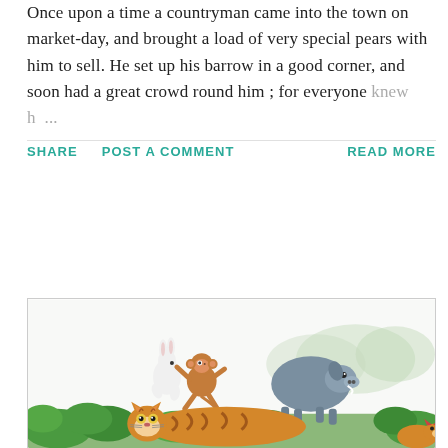Once upon a time a countryman came into the town on market-day, and brought a load of very special pears with him to sell. He set up his barrow in a good corner, and soon had a great crowd round him ; for everyone knew h ...
SHARE   POST A COMMENT   READ MORE
[Figure (illustration): Cartoon illustration of jungle animals running: a white rabbit, a brown monkey, a grey boar/pig, with green foliage/grass in the background, and a tiger lying in the foreground with a small fox at the right edge.]